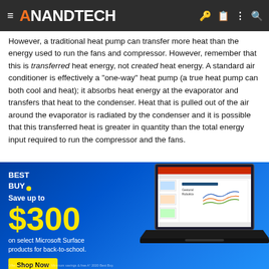AnandTech
However, a traditional heat pump can transfer more heat than the energy used to run the fans and compressor. However, remember that this is transferred heat energy, not created heat energy. A standard air conditioner is effectively a "one-way" heat pump (a true heat pump can both cool and heat); it absorbs heat energy at the evaporator and transfers that heat to the condenser. Heat that is pulled out of the air around the evaporator is radiated by the condenser and it is possible that this transferred heat is greater in quantity than the total energy input required to run the compressor and the fans.
This is not perpetual motion because the "excess" heat energy is not being "created" out of nowhere, but is instead transferred from...
[Figure (advertisement): Best Buy advertisement banner: Save up to $300 on select Microsoft Surface products for back-to-school. Shop Now button. Shows a laptop with PowerPoint presentation on screen.]